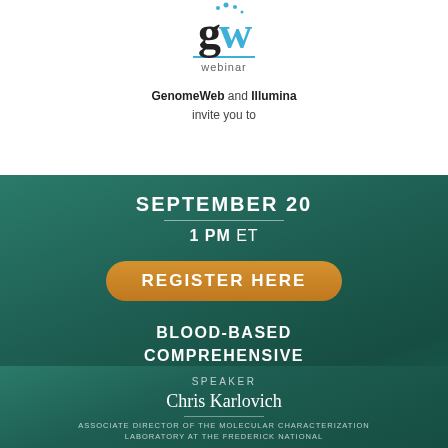[Figure (logo): GenomeWeb Webinar logo with 'gw' letters (g in black, w in blue) and dots above, with blue underline and 'webinar' text below]
GenomeWeb and Illumina invite you to
SEPTEMBER 20
1 PM ET
REGISTER HERE
BLOOD-BASED COMPREHENSIVE GENOMIC PROFILING: FROM VALIDATION TO CLINICAL STUDIES
SPEAKER
Chris Karlovich
ASSOCIATE DIRECTOR OF THE MOLECULAR CHARACTERIZATION LABORATORY AT THE FREDERICK NATIONAL